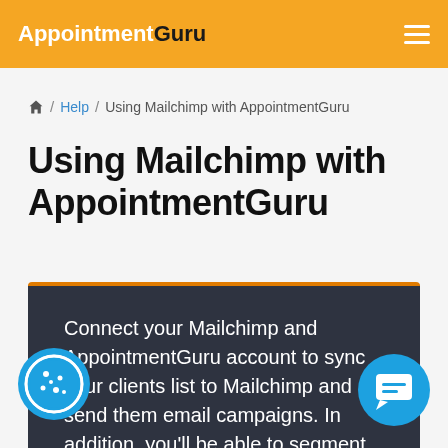AppointmentGuru
🏠 / Help / Using Mailchimp with AppointmentGuru
Using Mailchimp with AppointmentGuru
Connect your Mailchimp and AppointmentGuru account to sync your clients list to Mailchimp and send them email campaigns. In addition, you'll be able to segment your audience and view the stats of your campaigns in your AppointmentGuru account.